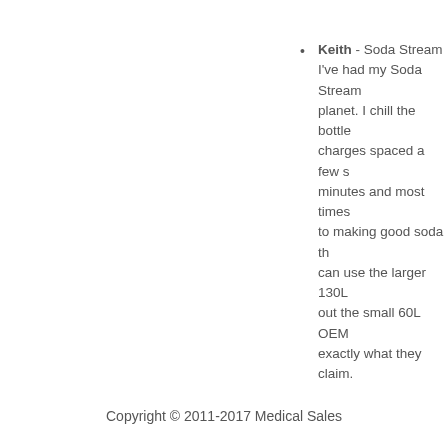Keith - Soda Stream I've had my Soda Stream planet. I chill the bottle charges spaced a few seconds minutes and most times to making good soda that can use the larger 130L out the small 60L OEM exactly what they claim.
Copyright © 2011-2017 Medical Sales